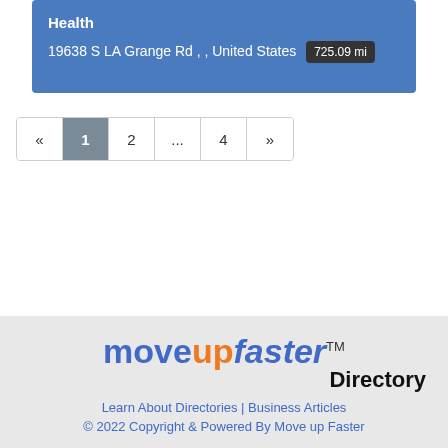Health
19638 S LA Grange Rd , , United States  725.09 mi
« 1 2 ... 4 »
[Figure (logo): moveupfaster™ Directory logo with blue and orange text]
Learn About Directories | Business Articles
© 2022 Copyright & Powered By Move up Faster